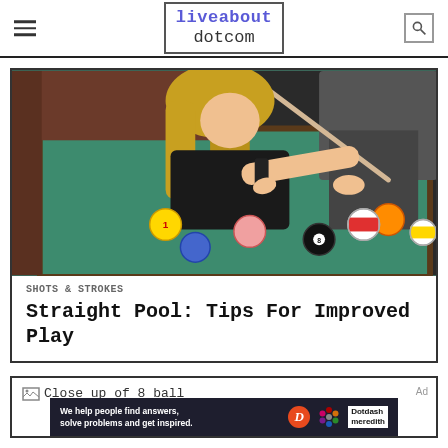liveabout dotcom
[Figure (photo): Woman with blonde hair leaning over a pool table, lining up a shot with a cue stick. Colorful billiard balls visible on the green felt table surface.]
SHOTS & STROKES
Straight Pool: Tips For Improved Play
[Figure (photo): Close up of 8 ball]
Ad
[Figure (logo): Dotdash Meredith advertisement banner reading: We help people find answers, solve problems and get inspired.]